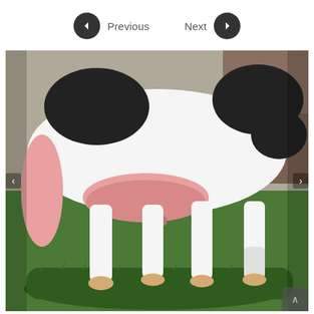[Figure (other): Navigation UI with Previous and Next buttons (dark circular arrow icons with text labels) above a photo of a black-and-white dairy cow standing on a green grass mat/platform, showing the udder and legs area. The photo has left and right navigation chevron arrows overlaid, and a small up-arrow button in the bottom-right corner.]